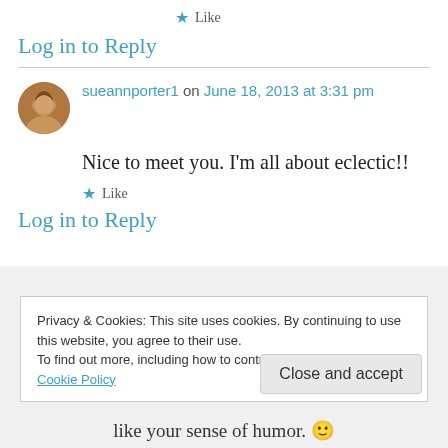★ Like
Log in to Reply
sueannporter1 on June 18, 2013 at 3:31 pm
Nice to meet you. I'm all about eclectic!!
★ Like
Log in to Reply
Privacy & Cookies: This site uses cookies. By continuing to use this website, you agree to their use.
To find out more, including how to control cookies, see here: Cookie Policy
Close and accept
like your sense of humor. 🙂